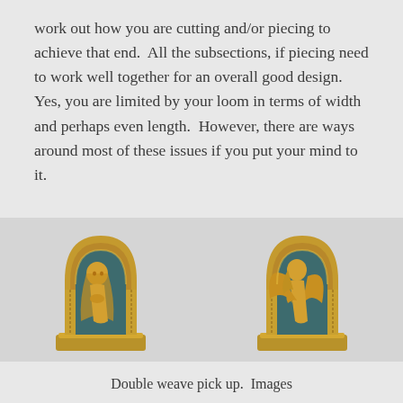work out how you are cutting and/or piecing to achieve that end.  All the subsections, if piecing need to work well together for an overall good design.  Yes, you are limited by your loom in terms of width and perhaps even length.  However, there are ways around most of these issues if you put your mind to it.
[Figure (photo): Two small decorative woven panels in golden arched frames side by side. Left panel shows a praying female figure in gold on a teal/dark background. Right panel shows an angel figure in gold on a teal/dark background. Both frames are ornate gold-colored arched frames on a pedestal base.]
Double weave pick up.  Images